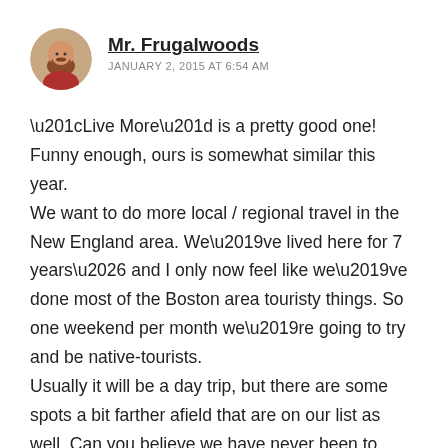Mr. Frugalwoods
JANUARY 2, 2015 AT 6:54 AM
“Live More” is a pretty good one! Funny enough, ours is somewhat similar this year.
We want to do more local / regional travel in the New England area. We’ve lived here for 7 years… and I only now feel like we’ve done most of the Boston area touristy things. So one weekend per month we’re going to try and be native-tourists.
Usually it will be a day trip, but there are some spots a bit farther afield that are on our list as well. Can you believe we have never been to Acadia